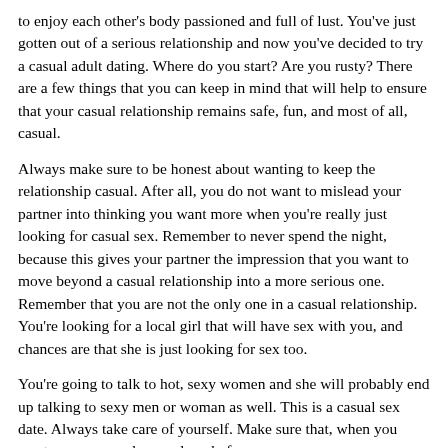to enjoy each other's body passioned and full of lust. You've just gotten out of a serious relationship and now you've decided to try a casual adult dating. Where do you start? Are you rusty? There are a few things that you can keep in mind that will help to ensure that your casual relationship remains safe, fun, and most of all, casual.
Always make sure to be honest about wanting to keep the relationship casual. After all, you do not want to mislead your partner into thinking you want more when you're really just looking for casual sex. Remember to never spend the night, because this gives your partner the impression that you want to move beyond a casual relationship into a more serious one. Remember that you are not the only one in a casual relationship. You're looking for a local girl that will have sex with you, and chances are that she is just looking for sex too.
You're going to talk to hot, sexy women and she will probably end up talking to sexy men or woman as well. This is a casual sex date. Always take care of yourself. Make sure that, when you meet up, you are clean and ready for sex.
With casual adult dating, she will be more likely to refuse sex if you do not look clean and ready to go. Remember that she is a fuck buddyand that you are looking for hot sex and nothing more. Casual dating lets you try new things.